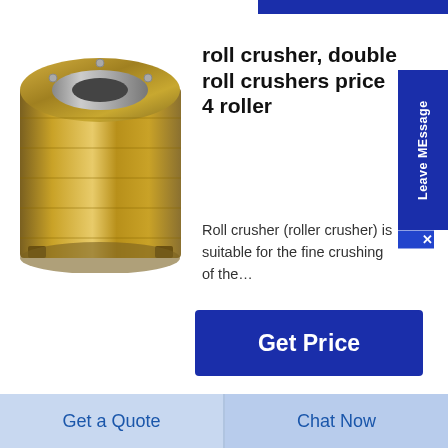[Figure (photo): Gold/brass colored cylindrical roll crusher component, drum-shaped with machined surface]
roll crusher, double roll crushers price 4 roller
Roll crusher (roller crusher) is suitable for the fine crushing of the…
[Figure (other): Get Price button (dark blue rectangle)]
[Figure (photo): Copper/bronze colored cylindrical cone crusher steel ball bearing bush component]
Cone Crusher Steel Ball Bearings Price List Apply to
Get a Quote
Chat Now